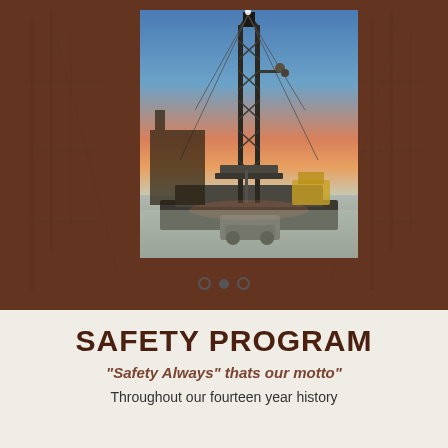[Figure (photo): Photo of a large oil/gas drilling rig tower at dusk/sunset with blue and orange sky, snow on ground, set against a brown background with faded rig imagery. Carousel dots (empty, filled, outlined) below the photo.]
SAFETY PROGRAM
"Safety Always" thats our motto"
Throughout our fourteen year history